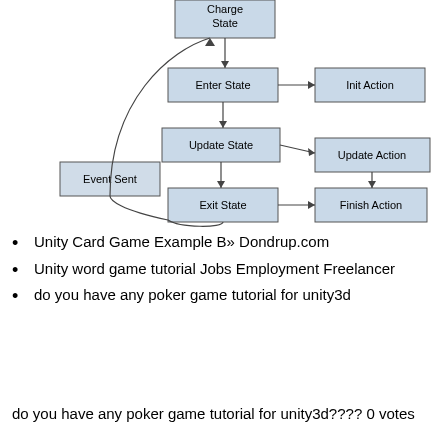[Figure (flowchart): Flowchart showing state machine flow: ChargeState at top, connecting down to Enter State, Update State, Exit State (left column). Init Action, Update Action, Finish Action on right column. Event Sent box on far left connected with curved line back up from Exit State to ChargeState.]
Unity Card Game Example B» Dondrup.com
Unity word game tutorial Jobs Employment Freelancer
do you have any poker game tutorial for unity3d
do you have any poker game tutorial for unity3d???? 0 votes